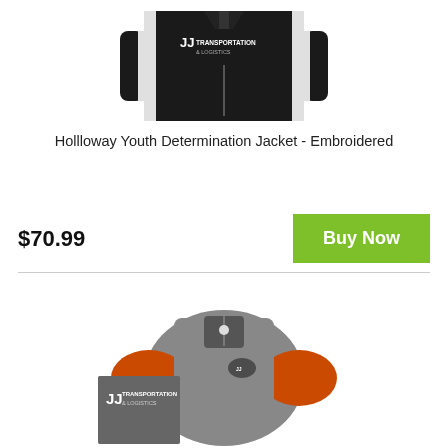[Figure (photo): Black athletic jacket with JJ Transportation & Logistics logo embroidered, shown with white stripe detail]
Hollloway Youth Determination Jacket - Embroidered
$70.99
Buy Now
[Figure (photo): Gray and orange quarter-zip pullover with JJ Transportation & Logistics logo, shown with a logo swatch]